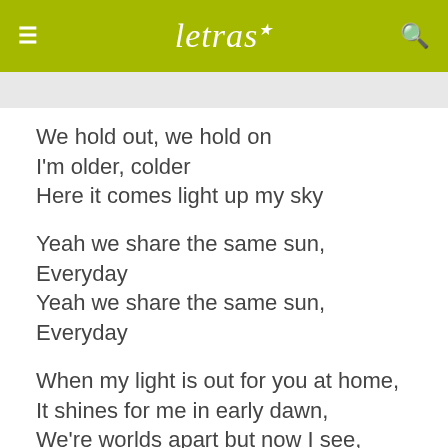letras
We hold out, we hold on
I'm older, colder
Here it comes light up my sky
Yeah we share the same sun,
Everyday
Yeah we share the same sun,
Everyday
When my light is out for you at home,
It shines for me in early dawn,
We're worlds apart but now I see,